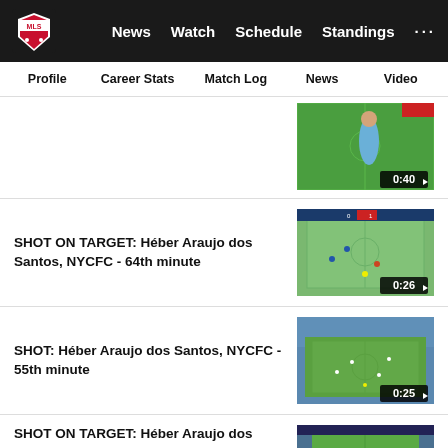MLS — News | Watch | Schedule | Standings | ...
Profile  Career Stats  Match Log  News  Video
[Figure (screenshot): Soccer player in light blue jersey on green field, video thumbnail, duration 0:40]
SHOT ON TARGET: Héber Araujo dos Santos, NYCFC - 64th minute
[Figure (screenshot): Aerial view of soccer field with players, video thumbnail, duration 0:26]
SHOT: Héber Araujo dos Santos, NYCFC - 55th minute
[Figure (screenshot): Wide aerial view of soccer stadium and field, video thumbnail, duration 0:25]
SHOT ON TARGET: Héber Araujo dos